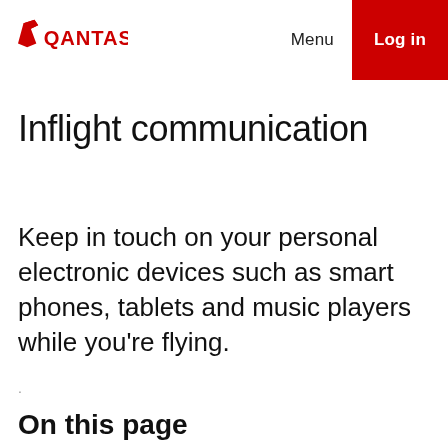QANTAS  Menu  Log in
Inflight communication
Keep in touch on your personal electronic devices such as smart phones, tablets and music players while you're flying.
On this page